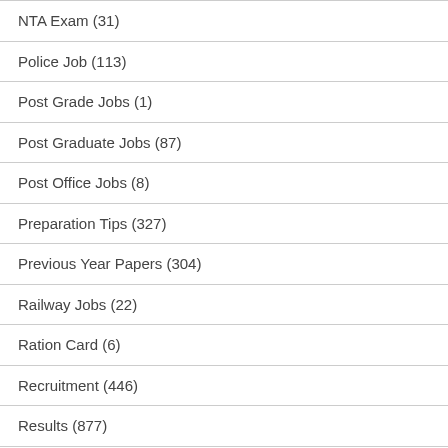NTA Exam (31)
Police Job (113)
Post Grade Jobs (1)
Post Graduate Jobs (87)
Post Office Jobs (8)
Preparation Tips (327)
Previous Year Papers (304)
Railway Jobs (22)
Ration Card (6)
Recruitment (446)
Results (877)
RPSC Exam (40)